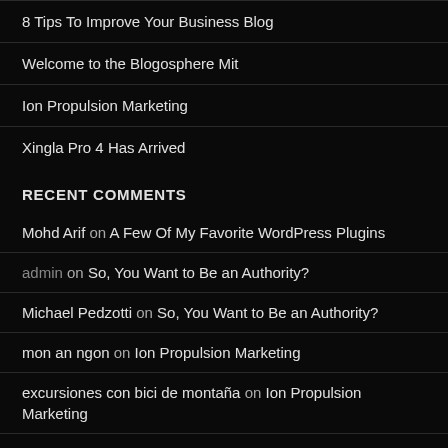8 Tips To Improve Your Business Blog
Welcome to the Blogosphere Mit
Ion Propulsion Marketing
Xingla Pro 4 Has Arrived
RECENT COMMENTS
Mohd Arif on A Few Of My Favorite WordPress Plugins
admin on So, You Want to Be an Authority?
Michael Pedzotti on So, You Want to Be an Authority?
mon an ngon on Ion Propulsion Marketing
excursiones con bici de montaña on Ion Propulsion Marketing